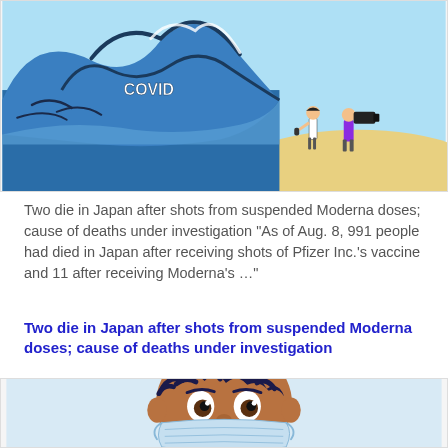[Figure (illustration): Editorial cartoon showing a large COVID-labeled tsunami wave approaching a shore where a news crew (reporter, cameraman) stands filming it.]
Two die in Japan after shots from suspended Moderna doses; cause of deaths under investigation "As of Aug. 8, 991 people had died in Japan after receiving shots of Pfizer Inc.'s vaccine and 11 after receiving Moderna's …"
Two die in Japan after shots from suspended Moderna doses; cause of deaths under investigation
[Figure (illustration): Editorial cartoon showing a person wearing a face mask with wide, worried eyes, from a close-up view.]